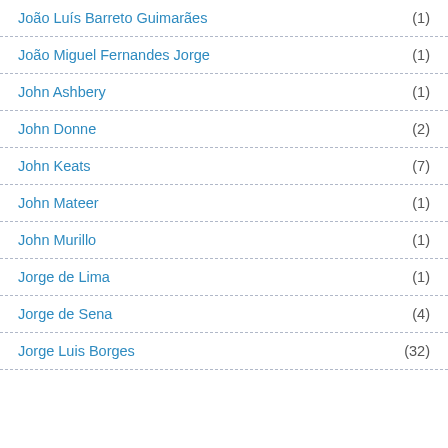João Luís Barreto Guimarães (1)
João Miguel Fernandes Jorge (1)
John Ashbery (1)
John Donne (2)
John Keats (7)
John Mateer (1)
John Murillo (1)
Jorge de Lima (1)
Jorge de Sena (4)
Jorge Luis Borges (32)